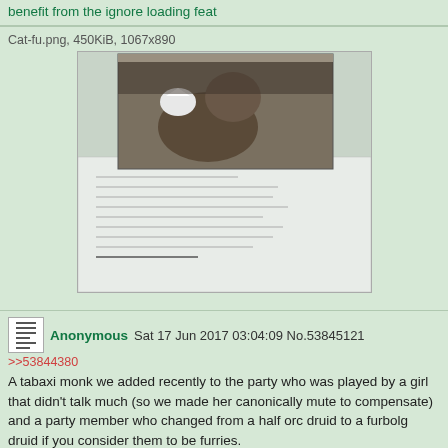benefit from the ignore loading feat
Cat-fu.png, 450KiB, 1067x890
[Figure (photo): Thumbnail image showing a cat with a bird, and a document below it]
Anonymous Sat 17 Jun 2017 03:04:09 No.53845121
>>53844380
A tabaxi monk we added recently to the party who was played by a girl that didn't talk much (so we made her canonically mute to compensate) and a party member who changed from a half orc druid to a furbolg druid if you consider them to be furries.
Anonymous Sat 17 Jun 2017 03:04:42 No.53845128
Quoted By: >>53845633
>>53845108
But they can use the same crossbow RAW and RAI. You are right about the shield though.
Anonymous Sat 17 Jun 2017 03:06:51 No.53845147
Quoted By: >>53845185
>>53845037